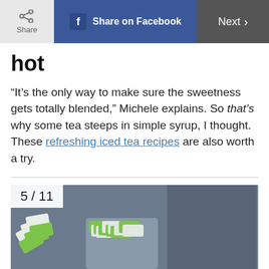Share | Share on Facebook | Next >
hot
“It’s the only way to make sure the sweetness gets totally blended,” Michele explains. So that’s why some tea steeps in simple syrup, I thought. These refreshing iced tea recipes are also worth a try.
[Figure (photo): A box of green tea bags arranged in a gray container on a dark slate background. Multiple tea bags with green and white packaging are visible.]
5 / 11